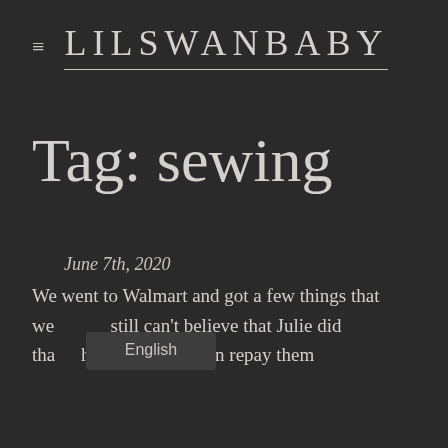LILSWANBABY
Tag: sewing
June 7th, 2020
We went to Walmart and got a few things that we needed. I still can't believe that Julie did that. I hope one day I can repay them for